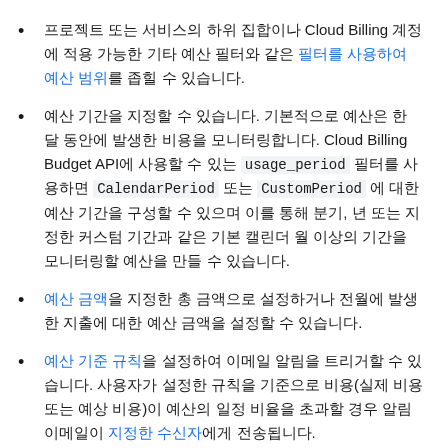프로젝트 또는 서비스의 하위 집합이나 Cloud Billing 계정에 적용 가능한 기타 예산 필터와 같은 필터를 사용하여 예산 범위를 좁힐 수 있습니다.
예산 기간을 지정할 수 있습니다. 기본적으로 예산은 한 달 동안에 발생한 비용을 모니터링합니다. Cloud Billing Budget API에 사용할 수 있는 usage_period 필터를 사용하면 CalendarPeriod 또는 CustomPeriod 에 대한 예산 기간을 구성할 수 있으며 이를 통해 분기, 년 또는 지정한 커스텀 기간과 같은 기본 캘린더 월 이상의 기간을 모니터링할 예산을 만들 수 있습니다.
예산 금액을 지정한 총 금액으로 설정하거나 전월에 발생한 지출에 대한 예산 금액을 설정할 수 있습니다.
예산 기준 규칙을 설정하여 이메일 알림을 트리거할 수 있습니다. 사용자가 설정한 규칙을 기준으로 비용(실제 비용 또는 예상 비용)이 예산의 일정 비율을 초과할 경우 알림 이메일이 지정한 수신자에게 전송됩니다.